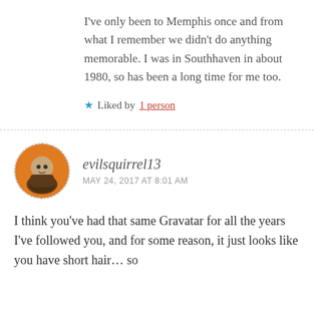I've only been to Memphis once and from what I remember we didn't do anything memorable. I was in Southhaven in about 1980, so has been a long time for me too.
★ Liked by 1 person
evilsquirrel13
MAY 24, 2017 AT 8:01 AM
I think you've had that same Gravatar for all the years I've followed you, and for some reason, it just looks like you have short hair… so